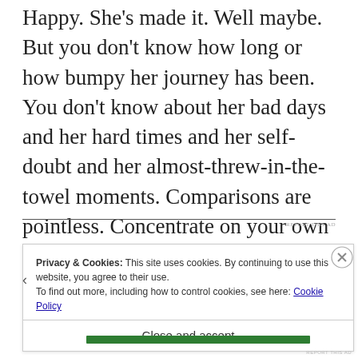Happy. She's made it. Well maybe. But you don't know how long or how bumpy her journey has been. You don't know about her bad days and her hard times and her self-doubt and her almost-threw-in-the-towel moments. Comparisons are pointless. Concentrate on your own path. No one else will walk it but you.
Privacy & Cookies: This site uses cookies. By continuing to use this website, you agree to their use. To find out more, including how to control cookies, see here: Cookie Policy
Close and accept